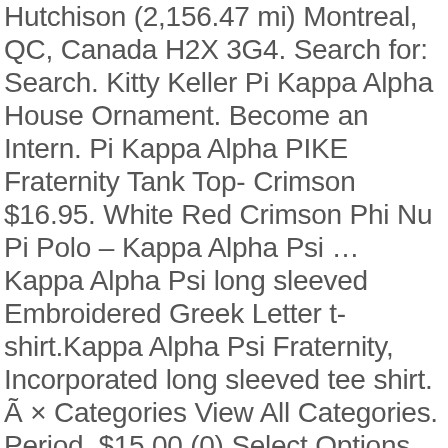Hutchison (2,156.47 mi) Montreal, QC, Canada H2X 3G4. Search for: Search. Kitty Keller Pi Kappa Alpha House Ornament. Become an Intern. Pi Kappa Alpha PIKE Fraternity Tank Top- Crimson $16.95. White Red Crimson Phi Nu Pi Polo – Kappa Alpha Psi … Kappa Alpha Psi long sleeved Embroidered Greek Letter t-shirt.Kappa Alpha Psi Fraternity, Incorporated long sleeved tee shirt. Ã × Categories View All Categories. Period. $15.00 (0) Select Options. The Pi Kapp Store PiKappStore.com is operated by Advanced-Online, a vendor that produces, stores and ships all PiKappStore.com site products. Kappa Alpha Psi Fraternity, Inc. 2322-24 North Broad Street Philadelphia, PA 19132- 4590 Get early access to products to post on Social Media . Shop PIKE Our brand and trademarks are licensed to protect our history and heritage. Select options; Sale! 2005251 . Pi Kappa Alpha PIKE Fraternity Dri-Fit Polo- Gray $14.95. Pi Kappa Alpha (Pike) Apparel & Gifts – Lettered sweatshirts, printed tees